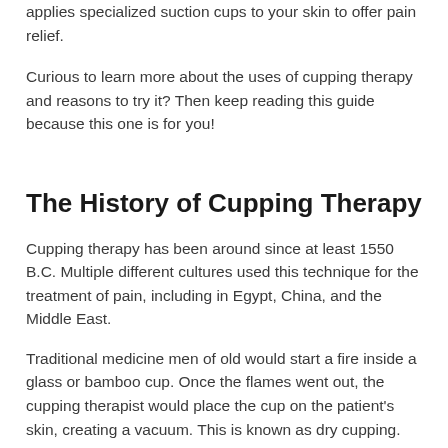applies specialized suction cups to your skin to offer pain relief.
Curious to learn more about the uses of cupping therapy and reasons to try it? Then keep reading this guide because this one is for you!
The History of Cupping Therapy
Cupping therapy has been around since at least 1550 B.C. Multiple different cultures used this technique for the treatment of pain, including in Egypt, China, and the Middle East.
Traditional medicine men of old would start a fire inside a glass or bamboo cup. Once the flames went out, the cupping therapist would place the cup on the patient's skin, creating a vacuum. This is known as dry cupping.
Another form of ancient cupping is called wet cupping. With wet